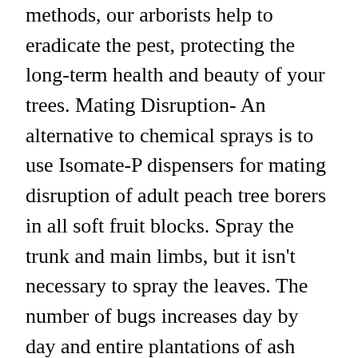methods, our arborists help to eradicate the pest, protecting the long-term health and beauty of your trees. Mating Disruption- An alternative to chemical sprays is to use Isomate-P dispensers for mating disruption of adult peach tree borers in all soft fruit blocks. Spray the trunk and main limbs, but it isn't necessary to spray the leaves. The number of bugs increases day by day and entire plantations of ash trees are dying under their pressure. For trees with activity, spray ... It attacks peaches, nectarines, cherries, apricots and plums as well as the ornamental forms of these trees. Insecticides available for homeowner use include some formulations of carbaryl and permethrin. They should also be